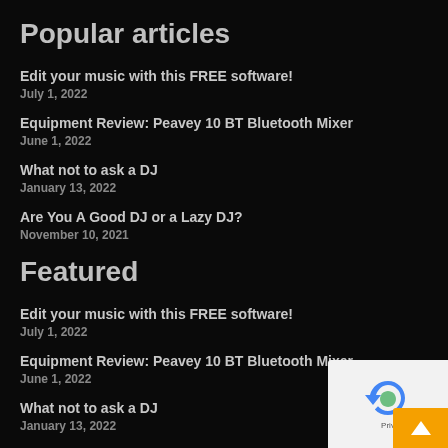Popular articles
Edit your music with this FREE software!
July 1, 2022
Equipment Review: Peavey 10 BT Bluetooth Mixer
June 1, 2022
What not to ask a DJ
January 13, 2022
Are You A Good DJ or a Lazy DJ?
November 10, 2021
Featured
Edit your music with this FREE software!
July 1, 2022
Equipment Review: Peavey 10 BT Bluetooth Mixer
June 1, 2022
What not to ask a DJ
January 13, 2022
Are You A Good DJ or a Lazy DJ?